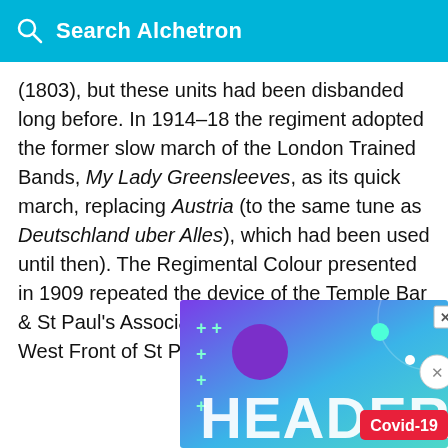Search Alchetron
(1803), but these units had been disbanded long before. In 1914–18 the regiment adopted the former slow march of the London Trained Bands, My Lady Greensleeves, as its quick march, replacing Austria (to the same tune as Deutschland uber Alles), which had been used until then). The Regimental Colour presented in 1909 repeated the device of the Temple Bar & St Paul's Association (a depiction of the West Front of St Paul's Cathedral).
[Figure (screenshot): Advertisement banner with colorful gradient background (purple to teal), plus symbols in teal, decorative circles, and large white text reading HEADER. A Covid-19 badge in red is visible in the bottom right corner, and a close (X) button is in the top right.]